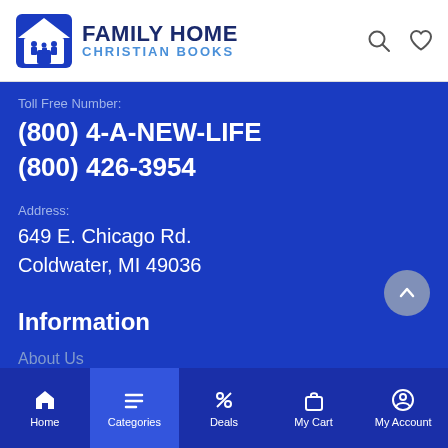[Figure (logo): Family Home Christian Books logo with house icon and family silhouette, dark blue and light blue text]
Toll Free Number:
(800) 4-A-NEW-LIFE
(800) 426-3954
Address:
649 E. Chicago Rd.
Coldwater, MI 49036
Information
About Us
Home | Categories | Deals | My Cart | My Account